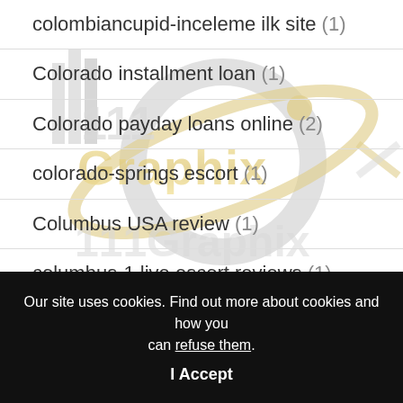colombiancupid-inceleme ilk site (1)
Colorado installment loan (1)
Colorado payday loans online (2)
colorado-springs escort (1)
Columbus USA review (1)
columbus-1 live escort reviews (1)
[Figure (logo): IllGraphix logo — stylized gold and silver '111Graphix' text with orbital ring graphic, watermarked across the list area]
Our site uses cookies. Find out more about cookies and how you can refuse them.
I Accept